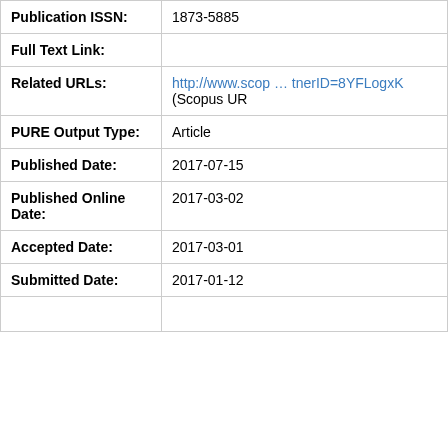| Field | Value |
| --- | --- |
| Publication ISSN: | 1873-5885 |
| Full Text Link: |  |
| Related URLs: | http://www.scop … tnerID=8YFLogxK (Scopus UR |
| PURE Output Type: | Article |
| Published Date: | 2017-07-15 |
| Published Online Date: | 2017-03-02 |
| Accepted Date: | 2017-03-01 |
| Submitted Date: | 2017-01-12 |